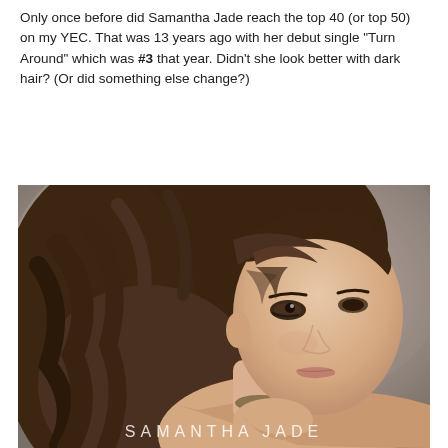Only once before did Samantha Jade reach the top 40 (or top 50) on my YEC. That was 13 years ago with her debut single "Turn Around" which was #3 that year. Didn't she look better with dark hair? (Or did something else change?)
[Figure (photo): Portrait photo of Samantha Jade with long dark wavy hair, looking over her shoulder with makeup, wearing jewelry, against a grey background. Text 'SAMANTHA JADE' appears at the bottom of the image.]